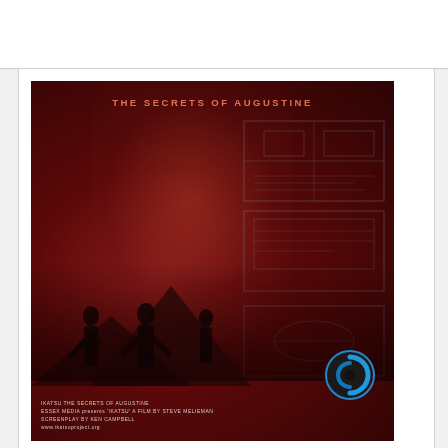[Figure (photo): Movie poster for 'Ikatsu: The Secrets of Augustine' — a dark red/maroon themed poster showing silhouettes of people against a volcanic backdrop with smoke, technical schematics on the right side, a blue circular logo in the bottom right, and credits text at the bottom]
A story of sea kayaking and science on the rugged coast of Alaska. Coming – Spring 2014.
FOLLOW US ON INSTAGRAM
[Figure (screenshot): Instagram Follow button widget showing the Instagram camera icon on the left and 'Follow' text on the right, styled as a rounded grey button]